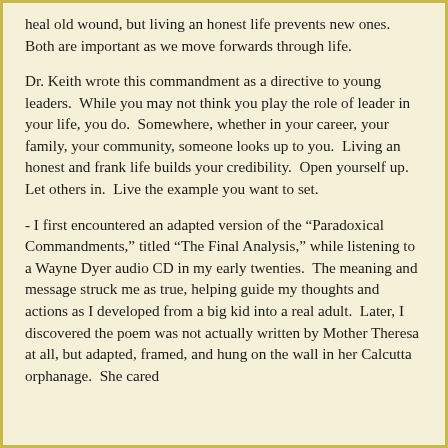heal old wound, but living an honest life prevents new ones.  Both are important as we move forwards through life.
Dr. Keith wrote this commandment as a directive to young leaders.  While you may not think you play the role of leader in your life, you do.  Somewhere, whether in your career, your family, your community, someone looks up to you.  Living an honest and frank life builds your credibility.  Open yourself up.  Let others in.  Live the example you want to set.
- I first encountered an adapted version of the “Paradoxical Commandments,” titled “The Final Analysis,” while listening to a Wayne Dyer audio CD in my early twenties.  The meaning and message struck me as true, helping guide my thoughts and actions as I developed from a big kid into a real adult.  Later, I discovered the poem was not actually written by Mother Theresa at all, but adapted, framed, and hung on the wall in her Calcutta orphanage.  She cared